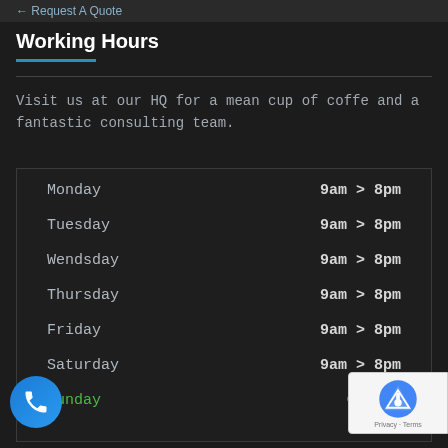← Request A Quote
Working Hours
Visit us at our HQ for a mean cup of coffe and a fantastic consulting team.
| Day | Hours |
| --- | --- |
| Monday | 9am > 8pm |
| Tuesday | 9am > 8pm |
| Wendsday | 9am > 8pm |
| Thursday | 9am > 8pm |
| Friday | 9am > 8pm |
| Saturday | 9am > 8pm |
| Sunday | Closed |